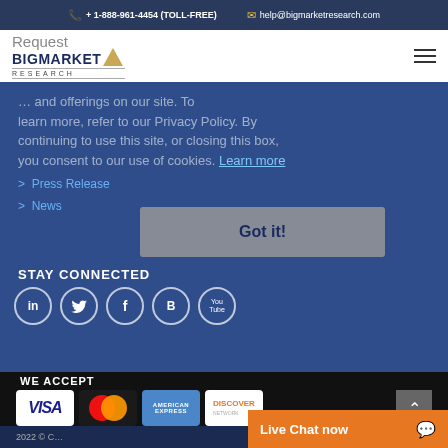+ 1-888-961-4454 (TOLL-FREE)   help@bigmarketresearch.com
[Figure (logo): Big Market Research logo with diamond shape and text]
Request
... and offerings on our site. To learn more, refer to our Privacy Policy. By continuing to use this site, or closing this box, you consent to our use of cookies. Learn more
> Press Release
> News
STAY CONNECTED
[Figure (infographic): Social media icons: LinkedIn, Twitter, Facebook, Blogger, YouTube in circles]
Got it!
WE ACCEPT
[Figure (infographic): Payment method logos: VISA, MasterCard, American Express, Discover, 2Checkout, PayPal]
2022 © C...
Live Chat now